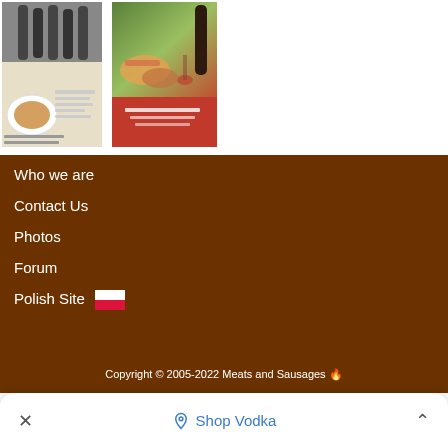[Figure (photo): Two book covers about meats and sausages/wine making at the top of the page]
Who we are
Contact Us
Photos
Forum
Polish Site 🇵🇱
Copyright © 2005-2022 Meats and Sausages 🔥
✕   🔷 Shop Vodka   ˄